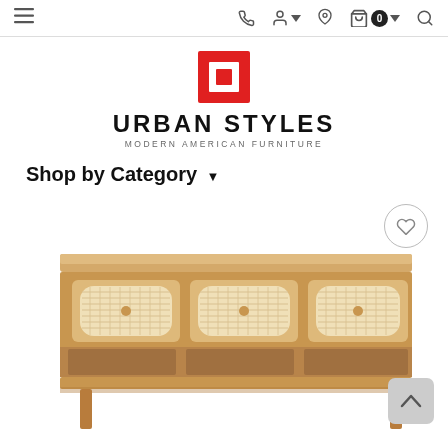Urban Styles navigation bar with hamburger menu, phone, user, location, cart (0), and search icons
[Figure (logo): Urban Styles logo: red square outline icon with white square inside, text URBAN STYLES, subtitle MODERN AMERICAN FURNITURE]
URBAN STYLES
MODERN AMERICAN FURNITURE
Shop by Category ▾
[Figure (photo): Product photo of a natural wood sideboard/credenza with three drawers featuring rattan/cane woven oval panels and small round knobs, partially cropped at bottom of page. A heart/wishlist button is shown top-right and a scroll-to-top arrow button bottom-right.]